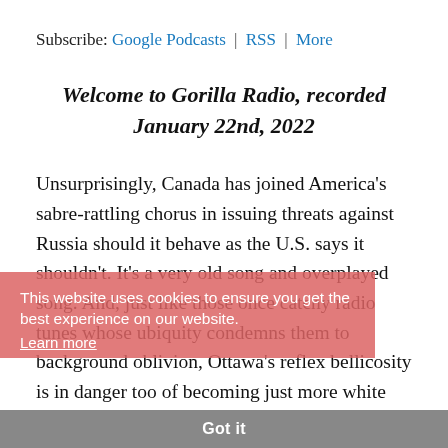Subscribe: Google Podcasts | RSS | More
Welcome to Gorilla Radio, recorded January 22nd, 2022
Unsurprisingly, Canada has joined America's sabre-rattling chorus in issuing threats against Russia should it behave as the U.S. says it shouldn't. It's a very old song and overplayed song. And, just like those once catchy radio tunes whose ubiquity condemns them to background oblivion, Ottawa's reflex bellicosity is in danger too of becoming just more white noise static in the martial cacophony. Today's selection may be Ukraine –
This website uses cookies to ensure you get the best experience on our website. Learn more
Got it